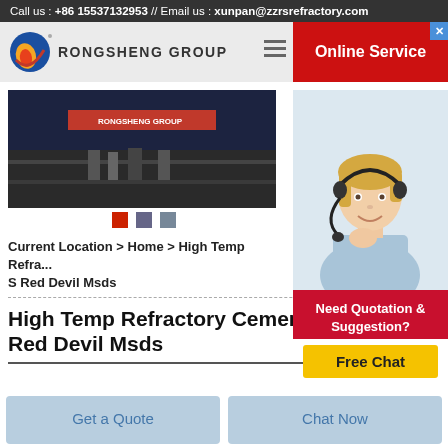Call us : +86 15537132953 // Email us : xunpan@zzrsrefractory.com
[Figure (logo): Rongsheng Group logo with flame/globe icon]
RONGSHENG GROUP
[Figure (screenshot): Online Service button (red) with headset agent photo and chat options]
[Figure (photo): Rongsheng Group exhibition/showroom photo with red banner]
Current Location > Home > High Temp Refra... S Red Devil Msds
High Temp Refractory Cementmeed Red Devil Msds
Get a Quote
Chat Now